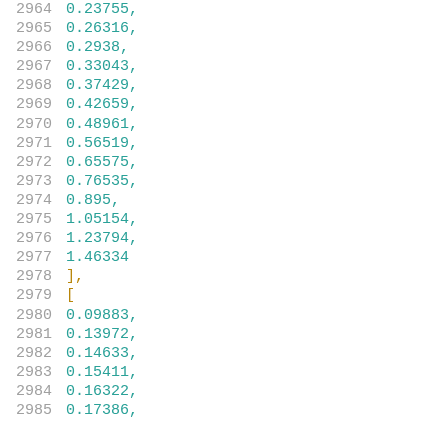2964    0.23755,
2965    0.26316,
2966    0.2938,
2967    0.33043,
2968    0.37429,
2969    0.42659,
2970    0.48961,
2971    0.56519,
2972    0.65575,
2973    0.76535,
2974    0.895,
2975    1.05154,
2976    1.23794,
2977    1.46334
2978    ],
2979    [
2980    0.09883,
2981    0.13972,
2982    0.14633,
2983    0.15411,
2984    0.16322,
2985    0.17386,